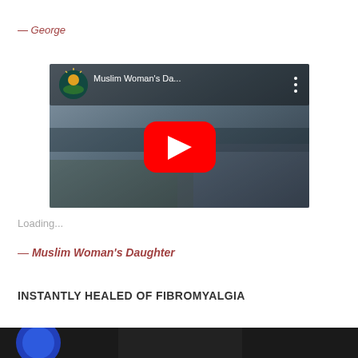— George
[Figure (screenshot): YouTube video thumbnail showing 'Muslim Woman's Da...' with a channel icon, play button, and dark background scene]
Loading...
— Muslim Woman's Daughter
INSTANTLY HEALED OF FIBROMYALGIA
[Figure (screenshot): Dark bottom strip showing the beginning of another video thumbnail]